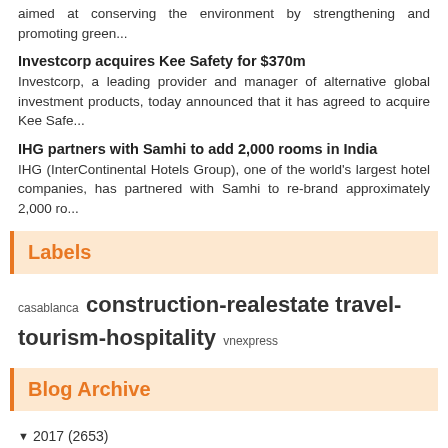aimed at conserving the environment by strengthening and promoting green...
Investcorp acquires Kee Safety for $370m
Investcorp, a leading provider and manager of alternative global investment products, today announced that it has agreed to acquire Kee Safe...
IHG partners with Samhi to add 2,000 rooms in India
IHG (InterContinental Hotels Group), one of the world's largest hotel companies, has partnered with Samhi to re-brand approximately 2,000 ro...
Labels
casablanca construction-realestate travel-tourism-hospitality vnexpress
Blog Archive
▼ 2017 (2653)
► December (196)
► November (259)
► October (254)
► September (214)